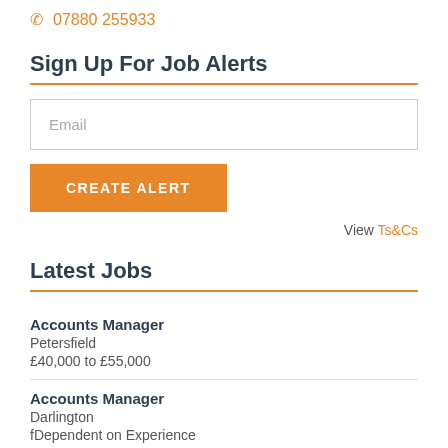07880 255933
Sign Up For Job Alerts
Email
CREATE ALERT
View Ts&Cs
Latest Jobs
Accounts Manager
Petersfield
£40,000 to £55,000
Accounts Manager
Darlington
fDependent on Experience